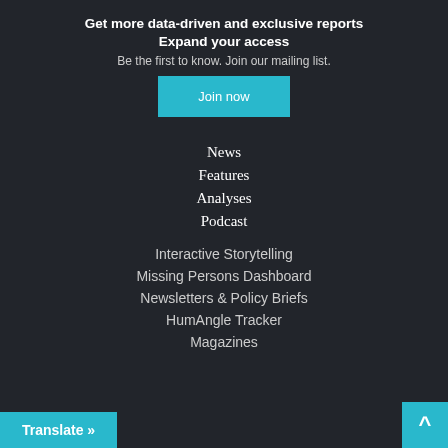Get more data-driven and exclusive reports
Expand your access
Be the first to know. Join our mailing list.
Join now
News
Features
Analyses
Podcast
Interactive Storytelling
Missing Persons Dashboard
Newsletters & Policy Briefs
HumAngle Tracker
Magazines
Translate »